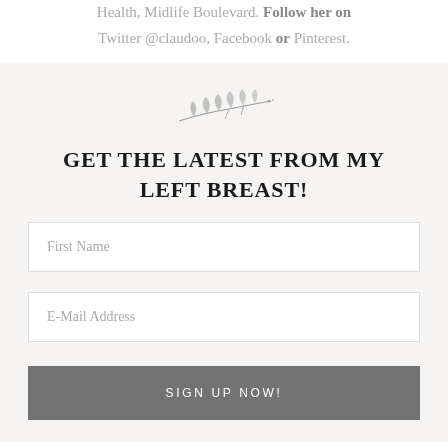Health, Midlife Boulevard. Follow her on Twitter @claudoo, Facebook or Pinterest.
[Figure (illustration): Small decorative leaf/branch botanical illustration in gray]
GET THE LATEST FROM MY LEFT BREAST!
First Name [input field]
E-Mail Address [input field]
SIGN UP NOW! [button]